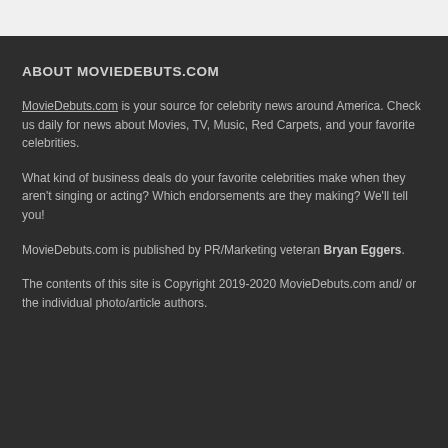ABOUT MOVIEDEBUTS.COM
MovieDebuts.com is your source for celebrity news around America. Check us daily for news about Movies, TV, Music, Red Carpets, and your favorite celebrities.
What kind of business deals do your favorite celebrities make when they aren't singing or acting? Which endorsements are they making? We'll tell you!
MovieDebuts.com is published by PR/Marketing veteran Bryan Eggers.
The contents of this site is Copyright 2019-2020 MovieDebuts.com and/ or the individual photo/article authors.